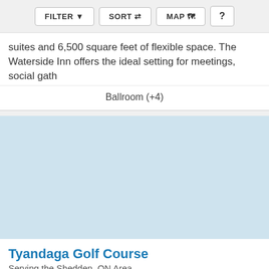FILTER  SORT  MAP  ?
suites and 6,500 square feet of flexible space. The Waterside Inn offers the ideal setting for meetings, social gath
Ballroom (+4)
[Figure (photo): Light blue placeholder image for venue photo]
Tyandaga Golf Course
Serving the Shedden, ON Area
Capacity: 120
Request Pricing